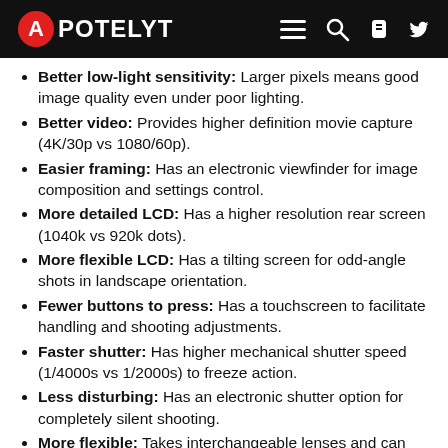APOTELYT
Better low-light sensitivity: Larger pixels means good image quality even under poor lighting.
Better video: Provides higher definition movie capture (4K/30p vs 1080/60p).
Easier framing: Has an electronic viewfinder for image composition and settings control.
More detailed LCD: Has a higher resolution rear screen (1040k vs 920k dots).
More flexible LCD: Has a tilting screen for odd-angle shots in landscape orientation.
Fewer buttons to press: Has a touchscreen to facilitate handling and shooting adjustments.
Faster shutter: Has higher mechanical shutter speed (1/4000s vs 1/2000s) to freeze action.
Less disturbing: Has an electronic shutter option for completely silent shooting.
More flexible: Takes interchangeable lenses and can thus be used with specialty optics.
Longer lasting: Gets more shots (330 versus 240) out of